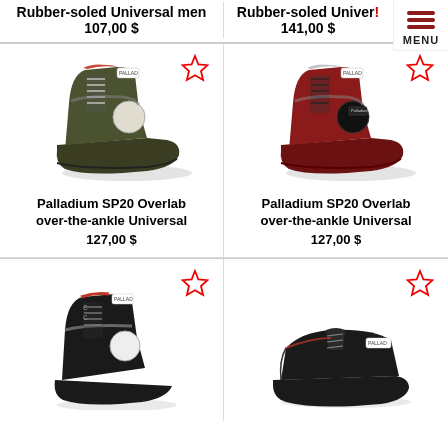Rubber-soled Universal men
107,00 $
Rubber-soled Univer!
141,00 $
[Figure (photo): Olive green Palladium SP20 Overlab over-the-ankle boot with rubber sole]
Palladium SP20 Overlab over-the-ankle Universal
127,00 $
[Figure (photo): Dark red Palladium SP20 Overlab over-the-ankle boot with rubber sole]
Palladium SP20 Overlab over-the-ankle Universal
127,00 $
[Figure (photo): Black Palladium high-top boot, partial view]
[Figure (photo): Black Palladium low sneaker, partial view]